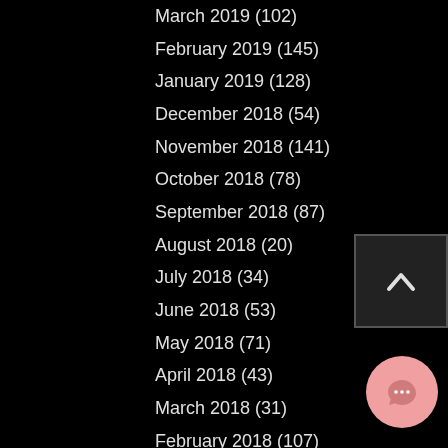March 2019 (102)
February 2019 (145)
January 2019 (128)
December 2018 (54)
November 2018 (141)
October 2018 (78)
September 2018 (87)
August 2018 (20)
July 2018 (34)
June 2018 (53)
May 2018 (71)
April 2018 (43)
March 2018 (31)
February 2018 (107)
January 2018 (105)
December 2017 (43)
November 2017 (35)
October 2017 (35)
September 2017 (48)
August 2017 (44)
[Figure (other): Back to top button with upward chevron arrow on dark background]
[Figure (other): Chat/message bubble button in pink/rose color]